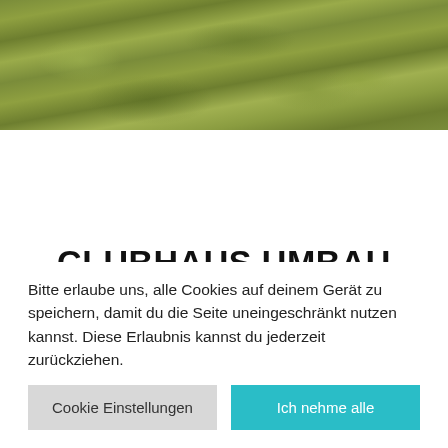[Figure (photo): Aerial or close-up photo of green grass field]
CLUBHAUS UMBAU 2021
Bitte erlaube uns, alle Cookies auf deinem Gerät zu speichern, damit du die Seite uneingeschränkt nutzen kannst. Diese Erlaubnis kannst du jederzeit zurückziehen.
Cookie Einstellungen | Ich nehme alle